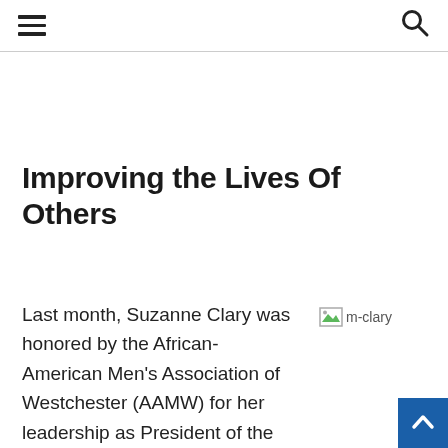≡  🔍
Improving the Lives Of Others
Last month, Suzanne Clary was honored by the African-American Men's Association of Westchester (AAMW) for her leadership as President of the Jay Heritage Center, and the work of her staff
[Figure (photo): Image placeholder labeled m-clary]